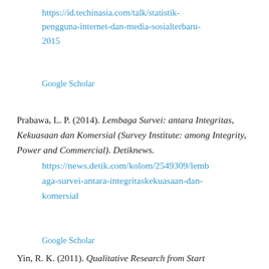https://id.techinasia.com/talk/statistik-pengguna-internet-dan-media-sosialterbaru-2015
Google Scholar
Prabawa, L. P. (2014). Lembaga Survei: antara Integritas, Kekuasaan dan Komersial (Survey Institute: among Integrity, Power and Commercial). Detiknews. https://news.detik.com/kolom/2549309/lembaga-survei-antara-integritaskekuasaan-dan-komersial
Google Scholar
Yin, R. K. (2011). Qualitative Research from Start